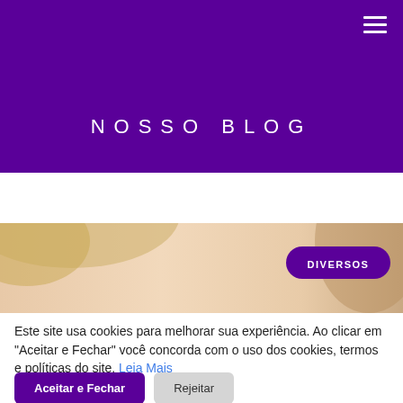NOSSO BLOG
[Figure (photo): Blog header image showing a partial face with blonde hair, with a purple 'DIVERSOS' badge overlay]
Este site usa cookies para melhorar sua experiência. Ao clicar em "Aceitar e Fechar" você concorda com o uso dos cookies, termos e políticas do site. Leia Mais
Aceitar e Fechar
Rejeitar